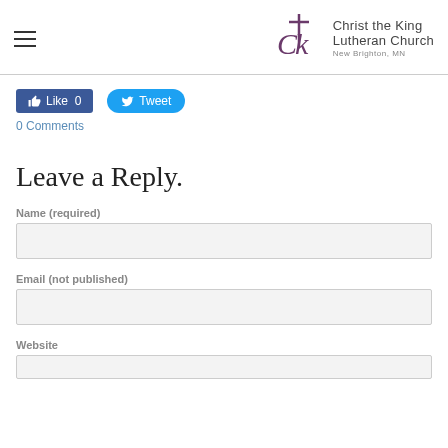Christ the King Lutheran Church New Brighton, MN
[Figure (logo): Christ the King Lutheran Church logo with CK monogram and cross]
[Figure (other): Facebook Like button (0 likes) and Twitter Tweet button]
0 Comments
Leave a Reply.
Name (required)
Email (not published)
Website